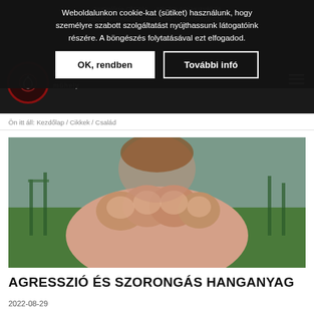Asztrológia Oktatás    Minden AmiAsztrológia
info@mindenamionismeret.hu    +3630/479-2392
Weboldalunkon cookie-kat (sütiket) használunk, hogy személyre szabott szolgáltatást nyújthassunk látogatóink részére. A böngészés folytatásával ezt elfogadod.
OK, rendben    További infó
Ön itt áll: Kezdőlap / Cikkek / Család
[Figure (photo): Close-up photo of a child's clenched fist thrust toward the camera, with a blurred outdoor background of green grass and playground equipment.]
AGRESSZIÓ ÉS SZORONGÁS HANGANYAG
2022-08-29